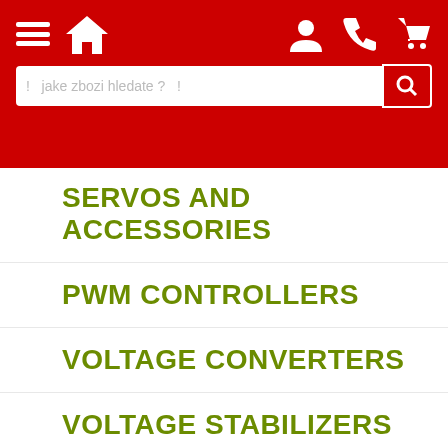Navigation header with hamburger menu, home icon, user icon, phone icon, cart icon, and search bar with placeholder 'jake zbozi hledate ?'
SERVOS AND ACCESSORIES
PWM CONTROLLERS
VOLTAGE CONVERTERS
VOLTAGE STABILIZERS
CURRENT STABILIZERS
AC CONTROLLERS
MEASURING INSTRUMENTS